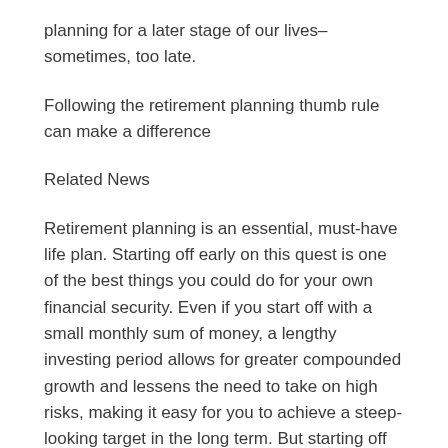planning for a later stage of our lives–sometimes, too late.
Following the retirement planning thumb rule can make a difference
Related News
Retirement planning is an essential, must-have life plan. Starting off early on this quest is one of the best things you could do for your own financial security. Even if you start off with a small monthly sum of money, a lengthy investing period allows for greater compounded growth and lessens the need to take on high risks, making it easy for you to achieve a steep-looking target in the long term. But starting off later to meet the same target would need you to take bigger risks.